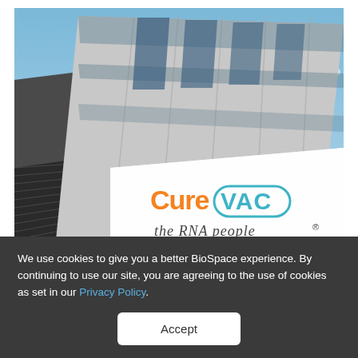[Figure (photo): Upward-angle photograph of a modern glass-and-steel building exterior against a blue sky with clouds. In the foreground is a white panel sign bearing the CureVac logo (orange 'Cure' and teal 'VAC' lettering) and the tagline 'the RNA people®' in handwritten-style script.]
Bernd Weissbrod/picture alliance via Getty Images
We use cookies to give you a better BioSpace experience. By continuing to use our site, you are agreeing to the use of cookies as set in our Privacy Policy.
Accept